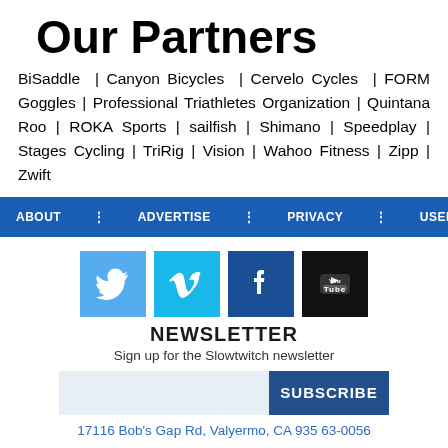Our Partners
BiSaddle | Canyon Bicycles | Cervelo Cycles | FORM Goggles | Professional Triathletes Organization | Quintana Roo | ROKA Sports | sailfish | Shimano | Speedplay | Stages Cycling | TriRig | Vision | Wahoo Fitness | Zipp | Zwift
ABOUT | ADVERTISE | PRIVACY | USER AGREEMENT
[Figure (infographic): Social media icons: Twitter (light blue), Vimeo (teal), Facebook (dark blue), YouTube (black)]
NEWSLETTER
Sign up for the Slowtwitch newsletter
SUBSCRIBE
17116 Bob's Gap Rd, Valyermo, CA 935 63-0056